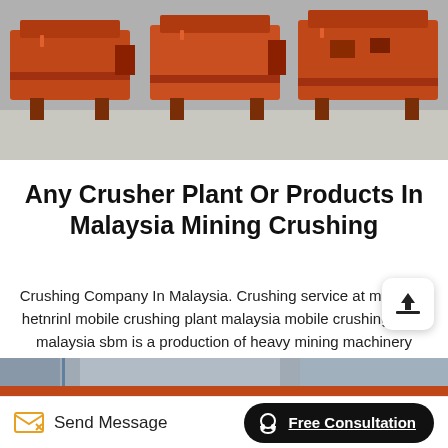[Figure (photo): Row of orange/red heavy mining crusher machines in a warehouse or factory setting, viewed from the side at an angle.]
Any Crusher Plant Or Products In Malaysia Mining Crushing
Crushing Company In Malaysia. Crushing service at malaysia hetnrinl mobile crushing plant malaysia mobile crushing plant malaysia sbm is a production of heavy mining machinery scientific research production and sales of large enterprises the pany has introduced advanced techn... and processes united states germany japan australia... and other .
[Figure (photo): Bottom portion of orange/red industrial machinery partially visible.]
Send Message
Free Consultation